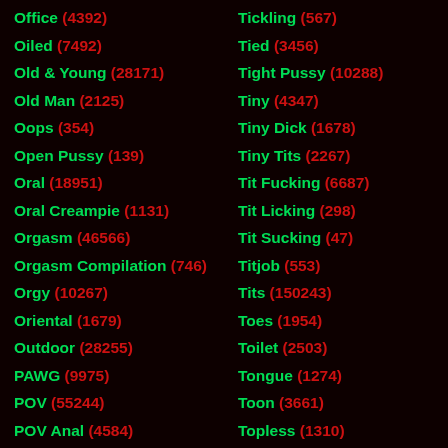Office (4392)
Tickling (567)
Oiled (7492)
Tied (3456)
Old & Young (28171)
Tight Pussy (10288)
Old Man (2125)
Tiny (4347)
Oops (354)
Tiny Dick (1678)
Open Pussy (139)
Tiny Tits (2267)
Oral (18951)
Tit Fucking (6687)
Oral Creampie (1131)
Tit Licking (298)
Orgasm (46566)
Tit Sucking (47)
Orgasm Compilation (746)
Titjob (553)
Orgy (10267)
Tits (150243)
Oriental (1679)
Toes (1954)
Outdoor (28255)
Toilet (2503)
PAWG (9975)
Tongue (1274)
POV (55244)
Toon (3661)
POV Anal (4584)
Topless (1310)